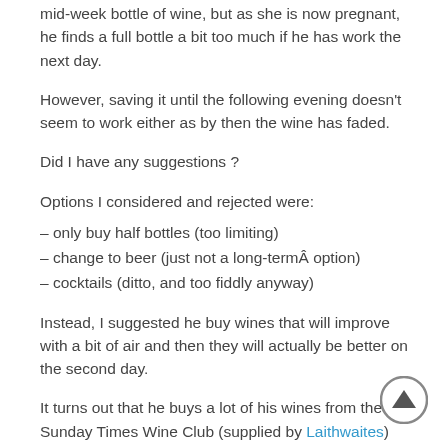mid-week bottle of wine, but as she is now pregnant, he finds a full bottle a bit too much if he has work the next day.
However, saving it until the following evening doesn't seem to work either as by then the wine has faded.
Did I have any suggestions ?
Options I considered and rejected were:
– only buy half bottles (too limiting)
– change to beer (just not a long-termÂ option)
– cocktails (ditto, and too fiddly anyway)
Instead, I suggested he buy wines that will improve with a bit of air and then they will actually be better on the second day.
It turns out that he buys a lot of his wines from the Sunday Times Wine Club (supplied by Laithwaites) and Naked Wines.
Of the two, I am more impressed by Naked (read what I think of Laithwaites